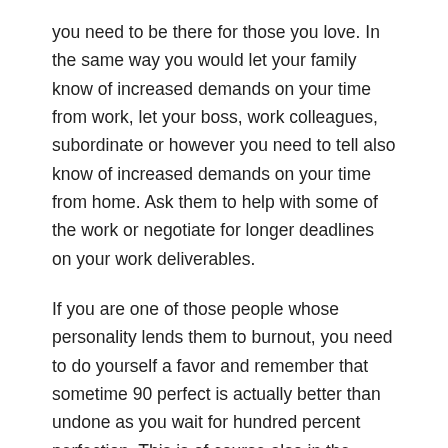you need to be there for those you love. In the same way you would let your family know of increased demands on your time from work, let your boss, work colleagues, subordinate or however you need to tell also know of increased demands on your time from home. Ask them to help with some of the work or negotiate for longer deadlines on your work deliverables.
If you are one of those people whose personality lends them to burnout, you need to do yourself a favor and remember that sometime 90 perfect is actually better than undone as you wait for hundred percent perfection. This is of course also in the context of what you do so do not take me out of context. There are things that will require 100 precision and without it there will be dire consequences. The truth is the